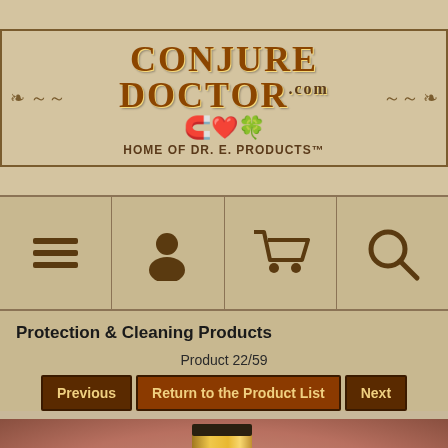[Figure (logo): ConjureDoctor.com logo with decorative text, horseshoe, heart, and clover icons, and subtitle 'HOME OF DR. E. PRODUCTS']
[Figure (infographic): Navigation bar with four icon buttons: hamburger menu, user/account, shopping cart, and search/magnifying glass icons on a tan parchment background]
Protection & Cleaning Products
Product 22/59
Previous | Return to the Product List | Next
[Figure (photo): Close-up photo of a small cylindrical candle or product with a gold/yellow wrapper and decorative label text, held against a pinkish-tan background]